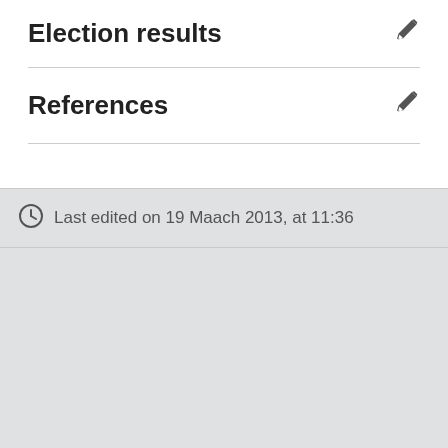Election results
References
Last edited on 19 Maach 2013, at 11:36